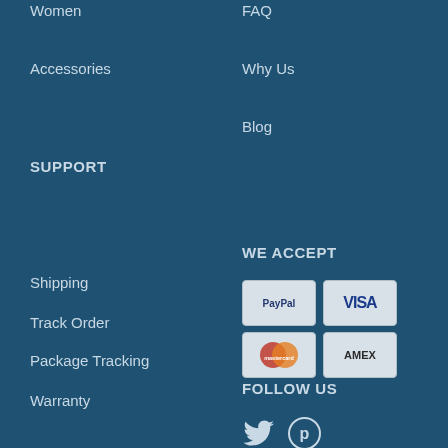Women
FAQ
Accessories
Why Us
Blog
SUPPORT
Shipping
WE ACCEPT
Track Order
[Figure (illustration): Payment method logos: PayPal, VISA, MasterCard, AMEX]
Package Tracking
Warranty
FOLLOW US
Returns / Exchange
[Figure (illustration): Social media icons: Twitter and Pinterest]
Terms and Conditions
Privacy Policy
SUBSCRIBE
Subscribe to our newsletter for a flat 5% off your first purchase!!